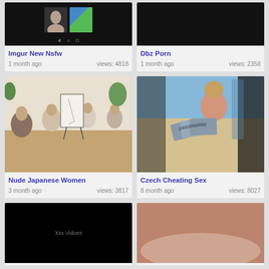[Figure (screenshot): Thumbnail for Imgur New Nsfw video showing a dark screen with inner screens - a face and colorful graphic]
Imgur New Nsfw
1 month ago    views: 4818
[Figure (screenshot): Thumbnail for Dbz Porn, entirely black screen]
Dbz Porn
1 month ago    views: 2358
[Figure (photo): Art class scene with people drawing a nude figure on canvas]
Nude Japanese Women
3 month ago    views: 3817
[Figure (photo): Woman in car holding banknotes]
Czech Cheating Sex
8 month ago    views: 8027
[Figure (screenshot): Black thumbnail with text Xxx Vidoes]
[Figure (photo): Thumbnail showing partial figure on bed]